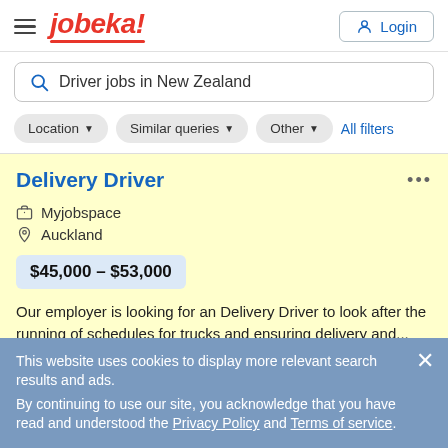[Figure (screenshot): Jobeka job search website screenshot showing header with hamburger menu, jobeka! logo, Login button, search bar with 'Driver jobs in New Zealand', filter pills (Location, Similar queries, Other, All filters), a highlighted job listing for Delivery Driver at Myjobspace, Auckland, $45,000 – $53,000, and a cookie consent banner overlay.]
jobeka!
Driver jobs in New Zealand
Location ▼   Similar queries ▼   Other ▼   All filters
Delivery Driver
Myjobspace
Auckland
$45,000 – $53,000
Our employer is looking for an Delivery Driver to look after the running of schedules for trucks and ensuring delivery and...
This website uses cookies to display more relevant search results and ads.
By continuing to use our site, you acknowledge that you have read and understood the Privacy Policy and Terms of service.
Kings Recruitment